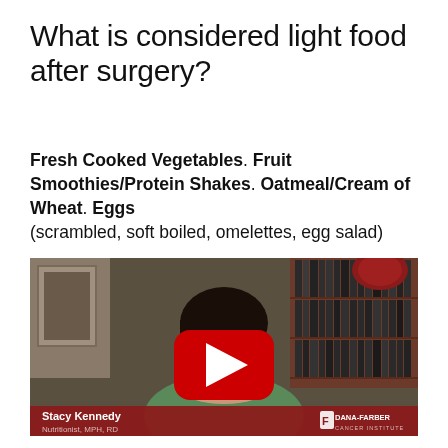What is considered light food after surgery?
Fresh Cooked Vegetables. Fruit Smoothies/Protein Shakes. Oatmeal/Cream of Wheat. Eggs (scrambled, soft boiled, omelettes, egg salad)
[Figure (screenshot): Video thumbnail showing a woman (Stacy Kennedy, Nutritionist, MPH, RD) seated in front of a bookshelf, with a YouTube play button overlay. Lower bar reads 'Stacy Kennedy / Nutritionist, MPH, RD' and 'Dana-Farber Cancer Institute' logo.]